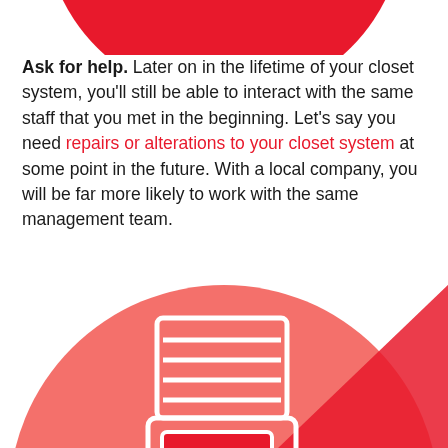[Figure (illustration): Partial red circle icon at the top of the page (cropped), representing a closet/storage system icon]
Ask for help. Later on in the lifetime of your closet system, you'll still be able to interact with the same staff that you met in the beginning. Let's say you need repairs or alterations to your closet system at some point in the future. With a local company, you will be far more likely to work with the same management team.
[Figure (illustration): Large red circle with a white outline icon of a closet/wardrobe unit with shelves and a cabinet door with a handle, shown on a lighter red circular background with a diagonal shadow effect]